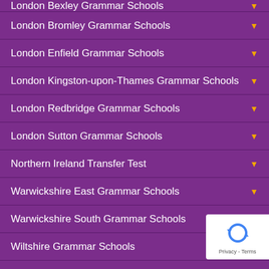London Bexley Grammar Schools
London Bromley Grammar Schools
London Enfield Grammar Schools
London Kingston-upon-Thames Grammar Schools
London Redbridge Grammar Schools
London Sutton Grammar Schools
Northern Ireland Transfer Test
Warwickshire East Grammar Schools
Warwickshire South Grammar Schools
Wiltshire Grammar Schools
Wirral- Liverpool Grammar Schools